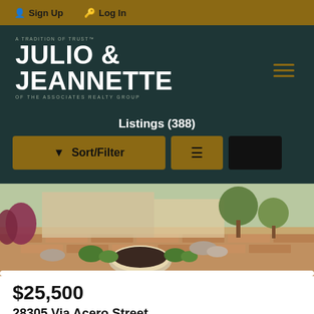Sign Up   Log In
[Figure (logo): Julio & Jeannette of The Associates Realty Group logo on dark teal background with hamburger menu icon]
Listings (388)
Sort/Filter [list view button]
[Figure (photo): Outdoor garden/patio photo showing landscaping with plants, stones, decorative fountain/planter, and trees]
$25,500
28305 Via Acero Street
Malibu, CA 90265
For Rent  |  8,600 sqft  |  6 beds  |  8 baths  |  2.0849 acres  |